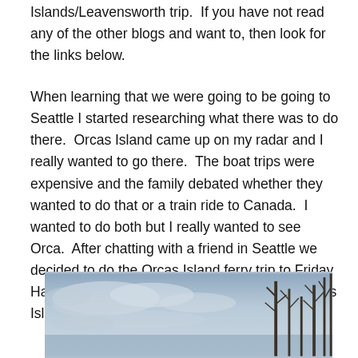Islands/Leavensworth trip.  If you have not read any of the other blogs and want to, then look for the links below.
When learning that we were going to be going to Seattle I started researching what there was to do there.  Orcas Island came up on my radar and I really wanted to go there.  The boat trips were expensive and the family debated whether they wanted to do that or a train ride to Canada.  I wanted to do both but I really wanted to see Orca.  After chatting with a friend in Seattle we decided to do the Orcas Island ferry trip to Friday Harbor.  Here are my blue images from the Orcas Island trip.
[Figure (photo): A landscape photo showing a blue-grey overcast sky with wispy clouds, bare winter trees visible on the right side, suggesting a cold outdoor scene near water or open land.]